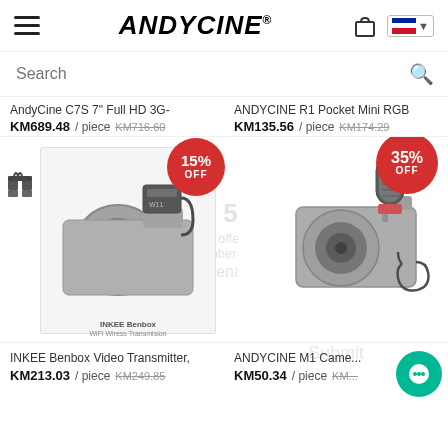ANDYCINE
Search
AndyCine C7S 7" Full HD 3G-
KM689.48 / piece  KM716.60
ANDYCINE R1 Pocket Mini RGB
KM135.56 / piece  KM174.29
[Figure (photo): Camera with INKEE Benbox wireless transmitter attached, 15% OFF badge]
[Figure (photo): Camera with ANDYCINE microphone attached, 35% OFF badge]
INKEE Benbox Video Transmitter,
KM213.03 / piece  KM249.85
ANDYCINE M1 Came...
KM50.34 / piece  KM...